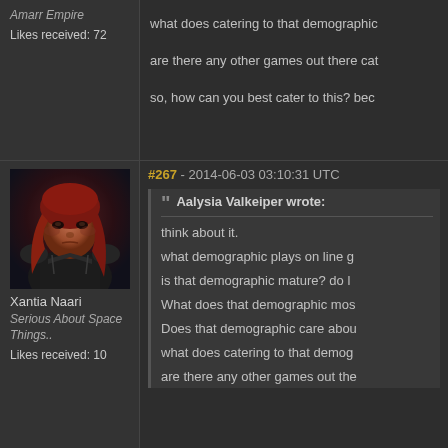Amarr Empire
Likes received: 72
what does catering to that demographic...
are there any other games out there cat...
so, how can you best cater to this? bec...
[Figure (photo): Avatar of a female character with red hair and dark armor, sci-fi style game portrait]
Xantia Naari
Serious About Space Things..
Likes received: 10
#267 - 2014-06-03 03:10:31 UTC
Aalysia Valkeiper wrote:
think about it.

what demographic plays on line g...

is that demographic mature? do l...

What does that demographic mos...

Does that demographic care abou...

what does catering to that demog...

are there any other games out the...